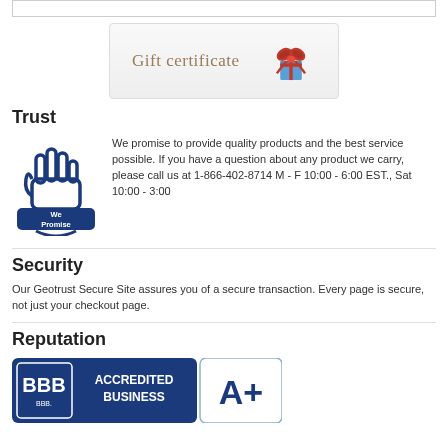[Figure (other): Empty white box / top bar element]
[Figure (illustration): Gift certificate banner with red bow ribbon on right side and text 'Gift certificate' in brown serif font on a light gray gradient background]
Trust
[Figure (illustration): We Promise badge: blue outlined hand holding a shield with 'We Promise' text inside on dark blue banner]
We promise to provide quality products and the best service possible. If you have a question about any product we carry, please call us at 1-866-402-8714 M - F 10:00 - 6:00 EST., Sat 10:00 - 3:00
Security
Our Geotrust Secure Site assures you of a secure transaction. Every page is secure, not just your checkout page.
Reputation
[Figure (logo): BBB Accredited Business A+ rating badge: left side dark blue with BBB logo and 'ACCREDITED BUSINESS' text, right side white with 'A+' grade]